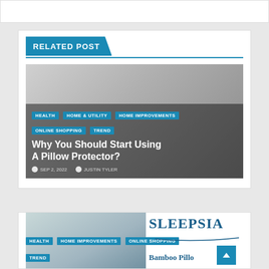RELATED POST
[Figure (photo): Bamboo pillow protector product image used as article thumbnail background]
HEALTH
HOME & UTILITY
HOME IMPROVEMENTS
ONLINE SHOPPING
TREND
Why You Should Start Using A Pillow Protector?
SEP 2, 2022   JUSTIN TYLER
[Figure (photo): Partial view of second article card showing a woman and Sleepsia logo with Bamboo Pillow text, with category tags HEALTH, HOME IMPROVEMENTS, ONLINE SHOPPING, TREND]